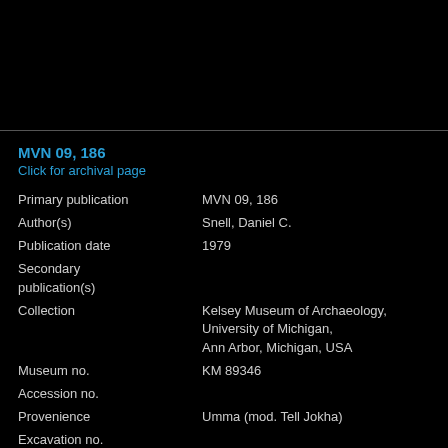MVN 09, 186
Click for archival page
| Field | Value |
| --- | --- |
| Primary publication | MVN 09, 186 |
| Author(s) | Snell, Daniel C. |
| Publication date | 1979 |
| Secondary publication(s) |  |
| Collection | Kelsey Museum of Archaeology, University of Michigan, Ann Arbor, Michigan, USA |
| Museum no. | KM 89346 |
| Accession no. |  |
| Provenience | Umma (mod. Tell Jokha) |
| Excavation no. |  |
| Period | Ur III (ca. 2100-2000 BC) |
| Dates referenced | Amar-Suen.09.00.00 |
| Object type | tablet |
| Remarks |  |
| Material | clay |
| Language | Sumerian |